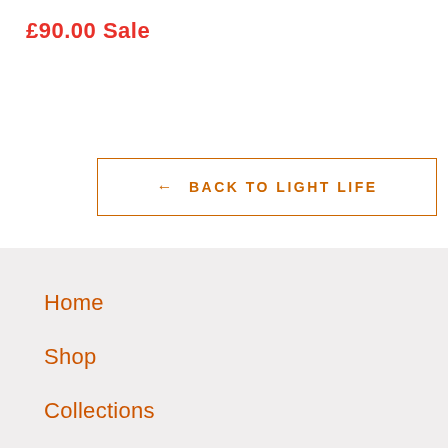£90.00 Sale
← BACK TO LIGHT LIFE
Home
Shop
Collections